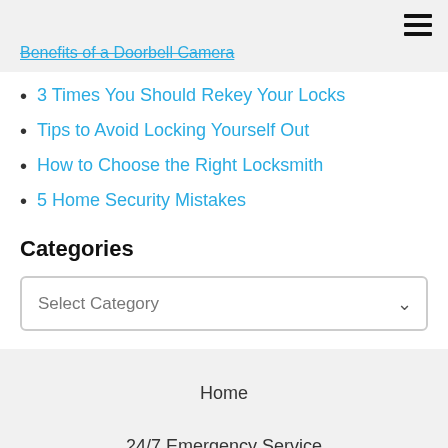Benefits of a Doorbell Camera
3 Times You Should Rekey Your Locks
Tips to Avoid Locking Yourself Out
How to Choose the Right Locksmith
5 Home Security Mistakes
Categories
Select Category
Home
24/7 Emergency Service
Automotive